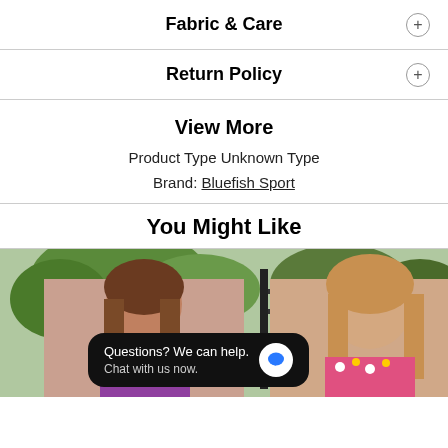Fabric & Care
Return Policy
View More
Product Type Unknown Type
Brand: Bluefish Sport
You Might Like
[Figure (photo): Two women smiling outdoors with trees in background. One wears a purple top, the other a floral top. A chat widget overlay reads 'Questions? We can help. Chat with us now.' with a blue speech bubble icon.]